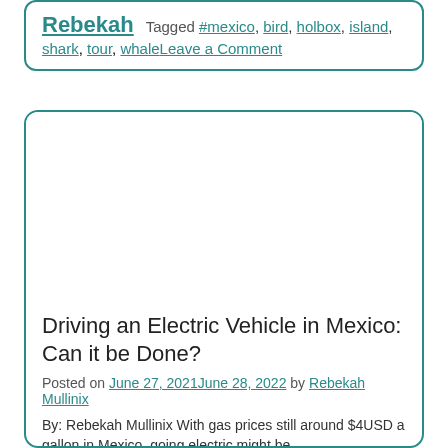Rebekah   Tagged #mexico, bird, holbox, island, shark, tour, whaleLeave a Comment
[Figure (photo): Blank white image area at the top of a blog post card]
Driving an Electric Vehicle in Mexico: Can it be Done?
Posted on June 27, 2021June 28, 2022 by Rebekah Mullinix
By: Rebekah Mullinix With gas prices still around $4USD a gallon in Mexico, going electric might be